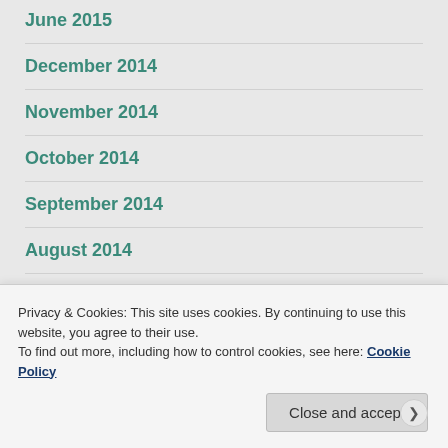June 2015
December 2014
November 2014
October 2014
September 2014
August 2014
July 2014
Privacy & Cookies: This site uses cookies. By continuing to use this website, you agree to their use. To find out more, including how to control cookies, see here: Cookie Policy
Close and accept